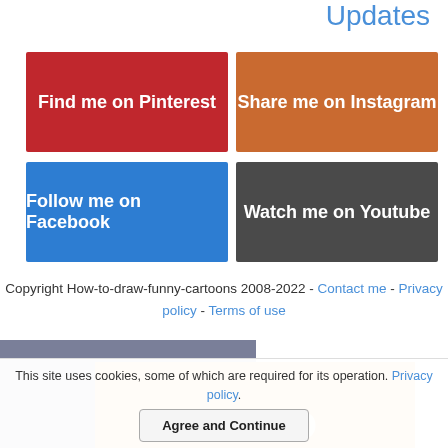Updates
[Figure (other): Red button: Find me on Pinterest]
[Figure (other): Orange button: Share me on Instagram]
[Figure (other): Blue button: Follow me on Facebook]
[Figure (other): Dark grey button: Watch me on Youtube]
Copyright How-to-draw-funny-cartoons 2008-2022 - Contact me - Privacy policy - Terms of use
[Figure (screenshot): Partially visible grey and orange image block with VIDEO text]
This site uses cookies, some of which are required for its operation. Privacy policy. Agree and Continue